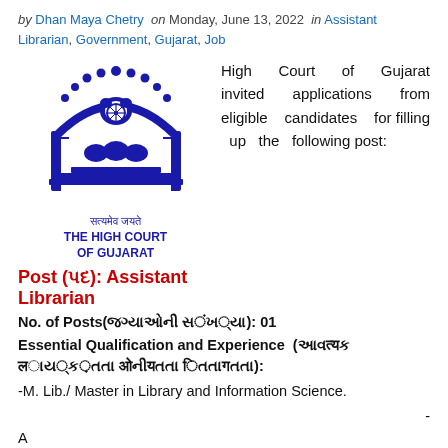by Dhan Maya Chetry on Monday, June 13, 2022 in Assistant Librarian, Government, Gujarat, Job
[Figure (logo): The High Court of Gujarat official seal/logo in blue, with Devanagari text 'सत्यमेव जयते' and text 'THE HIGH COURT OF GUJARAT']
High Court of Gujarat invited applications from eligible candidates for filling up the following post:
Post (પદ): Assistant Librarian
No. of Posts(જગ્યાઓની સંખ્યા): 01
Essential Qualification and Experience (આવશ્યક લાયક઼તતા ઓ અનભ઼ ):
-M. Lib./ Master in Library and Information Science.
-A candidate must possess a certificate regarding basic knowledge of